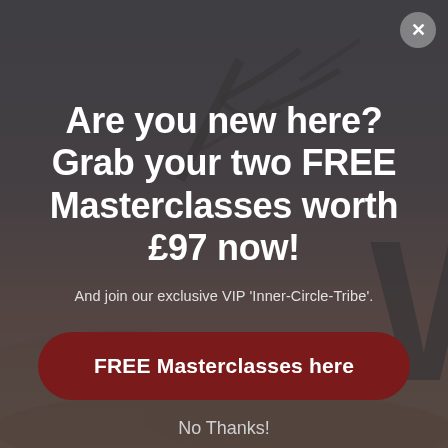[Figure (illustration): Background image of a sunset sky with silhouetted tree branches and a large letter W visible on the right side, overlaid with a dark semi-transparent modal overlay.]
Are you new here? Grab your two FREE Masterclasses worth £97 now!
And join our exclusive VIP 'Inner-Circle-Tribe'.
FREE Masterclasses here
No Thanks!